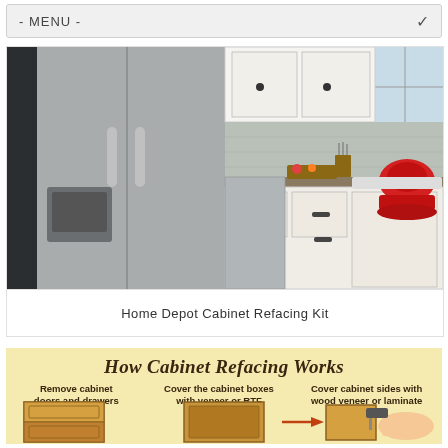- MENU -
[Figure (photo): Split image showing a stainless steel refrigerator on the left and a white kitchen with granite countertops, white cabinets, subway tile backsplash, and a red KitchenAid stand mixer on the right.]
Home Depot Cabinet Refacing Kit
[Figure (infographic): Infographic on yellow background titled 'How Cabinet Refacing Works' showing three steps: Remove cabinet doors and drawers, Cover the cabinet boxes with veneer or RTF, Cover cabinet sides with wood veneer or laminate. Accompanied by illustrations of cabinet components.]